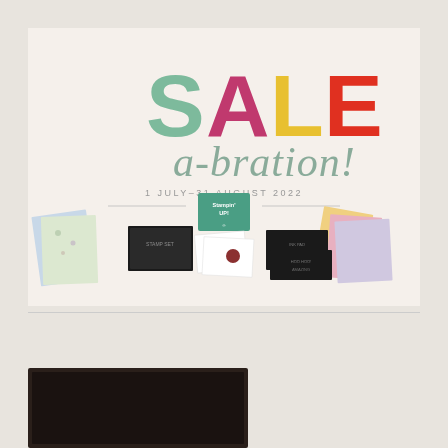[Figure (illustration): Stampin' Up! Sale-a-bration promotional banner for 1 July–31 August 2022. Large colorful SALE text with S in sage green, A in magenta, L in yellow, E in red. Below it reads 'a-bration!' in sage green italic script. Date '1 JULY–31 AUGUST 2022' in small gray caps. Stampin' Up! teal logo square in center. Bottom half shows craft products: floral patterned papers, stamp sets, ink pads, cards, and stamped projects scattered across the bottom of the banner.]
[Figure (photo): Partial view of a dark brown/black rectangular item visible at bottom of page, cut off by page edge.]